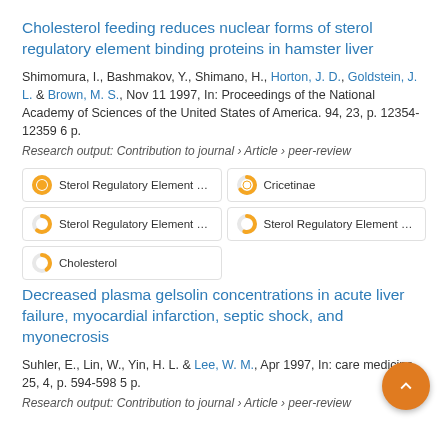Cholesterol feeding reduces nuclear forms of sterol regulatory element binding proteins in hamster liver
Shimomura, I., Bashmakov, Y., Shimano, H., Horton, J. D., Goldstein, J. L. & Brown, M. S., Nov 11 1997, In: Proceedings of the National Academy of Sciences of the United States of America. 94, 23, p. 12354-12359 6 p.
Research output: Contribution to journal › Article › peer-review
[Figure (infographic): Five keyword/topic badges with donut-style percentage indicators: Sterol Regulatory Element Binc (100%), Cricetinae (~65%), Sterol Regulatory Element Binc (~60%), Sterol Regulatory Element Binc (~55%), Cholesterol (~40%)]
Decreased plasma gelsolin concentrations in acute liver failure, myocardial infarction, septic shock, and myonecrosis
Suhler, E., Lin, W., Yin, H. L. & Lee, W. M., Apr 1997, In: care medicine. 25, 4, p. 594-598 5 p.
Research output: Contribution to journal › Article › peer-review